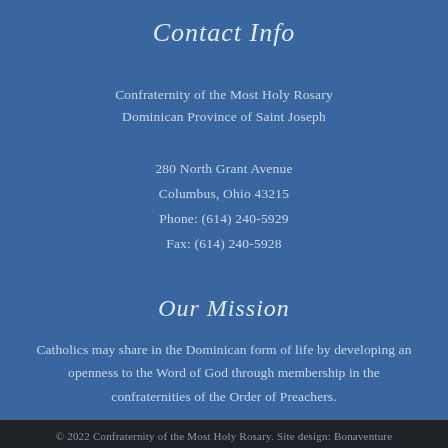Contact Info
Confraternity of the Most Holy Rosary
Dominican Province of Saint Joseph
280 North Grant Avenue
Columbus, Ohio 43215
Phone: (614) 240-5929
Fax: (614) 240-5928
Our Mission
Catholics may share in the Dominican form of life by developing an openness to the Word of God through membership in the confraternities of the Order of Preachers.
© 2022 Confraternity of the Most Holy Rosary. Site design: Bonaventure